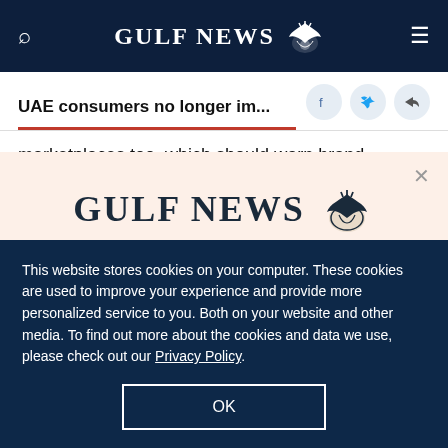GULF NEWS
UAE consumers no longer im...
marketplaces too, which should warn brand
[Figure (logo): Gulf News logo with eagle emblem in subscription modal]
A special offer for our readers
Get the two years All-Access subscription now
This website stores cookies on your computer. These cookies are used to improve your experience and provide more personalized service to you. Both on your website and other media. To find out more about the cookies and data we use, please check out our Privacy Policy.
OK